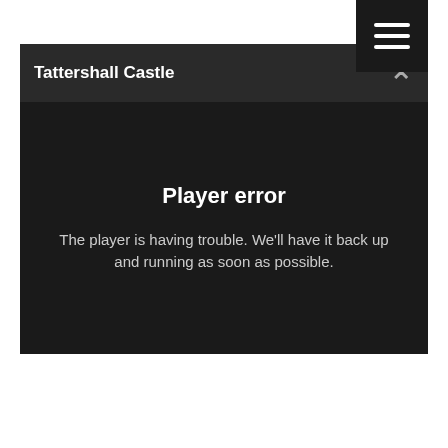[Figure (screenshot): Menu button (hamburger icon) in top-right corner, black background with three white horizontal bars]
Tattershall Castle
Player error
The player is having trouble. We'll have it back up and running as soon as possible.